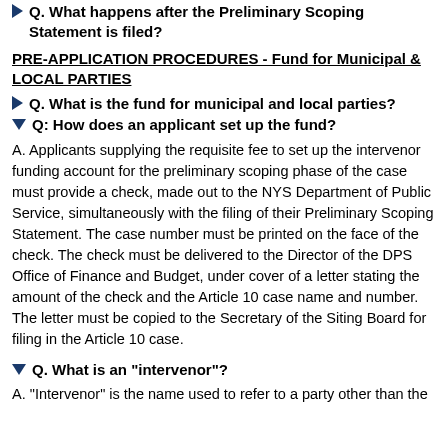Q. What happens after the Preliminary Scoping Statement is filed?
PRE-APPLICATION PROCEDURES - Fund for Municipal & LOCAL PARTIES
Q. What is the fund for municipal and local parties?
Q: How does an applicant set up the fund?
A. Applicants supplying the requisite fee to set up the intervenor funding account for the preliminary scoping phase of the case must provide a check, made out to the NYS Department of Public Service, simultaneously with the filing of their Preliminary Scoping Statement. The case number must be printed on the face of the check. The check must be delivered to the Director of the DPS Office of Finance and Budget, under cover of a letter stating the amount of the check and the Article 10 case name and number. The letter must be copied to the Secretary of the Siting Board for filing in the Article 10 case.
Q. What is an "intervenor"?
A. "Intervenor" is the name used to refer to a party other than the